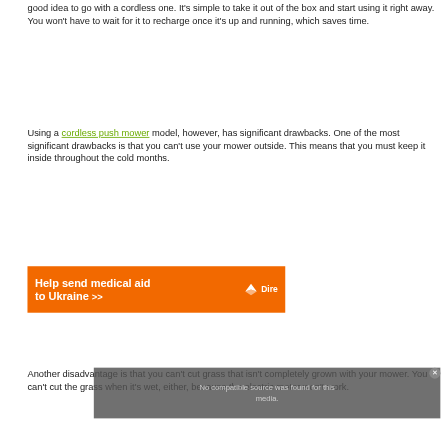good idea to go with a cordless one. It's simple to take it out of the box and start using it right away. You won't have to wait for it to recharge once it's up and running, which saves time.
Using a cordless push mower model, however, has significant drawbacks. One of the most significant drawbacks is that you can't use your mower outside. This means that you must keep it inside throughout the cold months.
[Figure (other): Orange advertisement banner: 'Help send medical aid to Ukraine >>' with Direct Relief logo on right side]
Another disadvantage is that you can't cut grass that isn't completely grown with your mower. You can't cut the grass when it's wet, either, because the electric motor won't work.